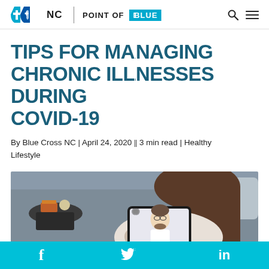NC Blue Cross NC | POINT OF BLUE
TIPS FOR MANAGING CHRONIC ILLNESSES DURING COVID-19
By Blue Cross NC | April 24, 2020 | 3 min read | Healthy Lifestyle
[Figure (photo): Woman sitting on a couch holding a tablet, having a video call with a male doctor wearing glasses and a white coat]
Social sharing icons: Facebook, Twitter, LinkedIn